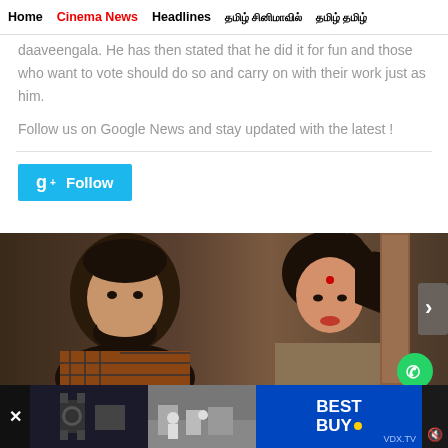Home | Cinema News | Headlines | தமிழ் சினிமாவில் | தமிழ் தமிழ்
daaveengala. He has then stated that he did it for fun and those who want to vote should do so and carry on with their work just as him.
Follow us on Google News and stay updated with the latest !
[Figure (other): Google+ Follow button (blue)]
[Figure (photo): Two people facing each other in a scene - a man with a beard on the left and a woman with a bindi on the right]
[Figure (other): Best Buy advertisement bar at the bottom with video thumbnails, VDX.TV branding and speaker icon]